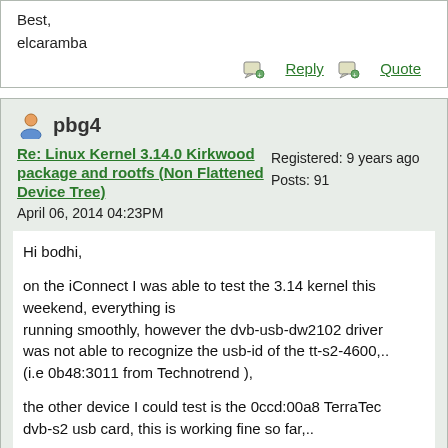Best,
elcaramba
Reply   Quote
pbg4
Re: Linux Kernel 3.14.0 Kirkwood package and rootfs (Non Flattened Device Tree)
April 06, 2014 04:23PM
Registered: 9 years ago
Posts: 91
Hi bodhi,

on the iConnect I was able to test the 3.14 kernel this weekend, everything is
running smoothly, however the dvb-usb-dw2102 driver was not able to recognize the usb-id of the tt-s2-4600,..
(i.e 0b48:3011 from Technotrend ),

the other device I could test is the 0ccd:00a8 TerraTec dvb-s2 usb card, this is working fine so far,..

when I applied the linux-3.14.0-tld-1-kirkwood.patch in a dry run on a plain
3.14 source tree, in this combined patch everything